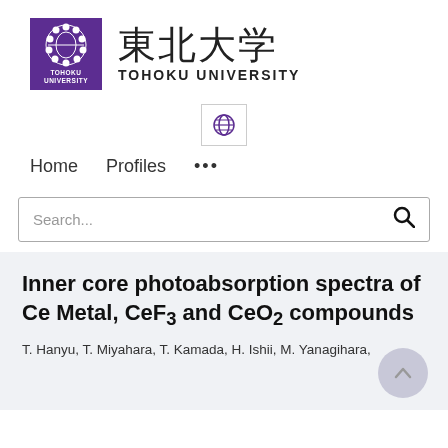[Figure (logo): Tohoku University logo: purple square with circular pearl/bead motif in white, text TOHOKU UNIVERSITY below in romaji, and 東北大学 in Japanese kanji characters]
[Figure (logo): Globe/language selector icon in a small bordered box]
Home   Profiles   …
Search...
Inner core photoabsorption spectra of Ce Metal, CeF₃ and CeO₂ compounds
T. Hanyu, T. Miyahara, T. Kamada, H. Ishii, M. Yanagihara,